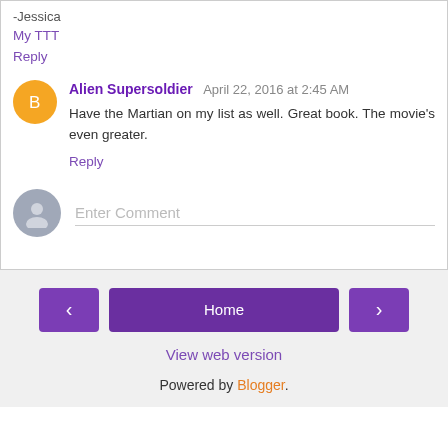-Jessica
My TTT
Reply
Alien Supersoldier  April 22, 2016 at 2:45 AM
Have the Martian on my list as well. Great book. The movie's even greater.
Reply
Enter Comment
Home
View web version
Powered by Blogger.